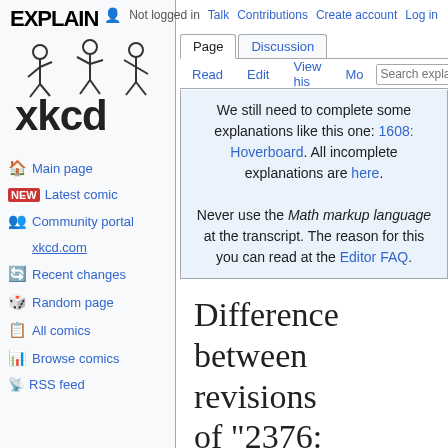Not logged in  Talk  Contributions  Create account  Log in
Page  Discussion  |  Read  Edit  View history  More  Search expla
[Figure (logo): Explain xkcd logo with stick figures and 'xkcd' text]
Main page
Latest comic
Community portal
xkcd.com
Recent changes
Random page
All comics
Browse comics
RSS feed
We still need to complete some explanations like this one: 1608: Hoverboard. All incomplete explanations are here.

Never use the Math markup language at the transcript. The reason for this you can read at the Editor FAQ.
Difference between revisions of "2376: